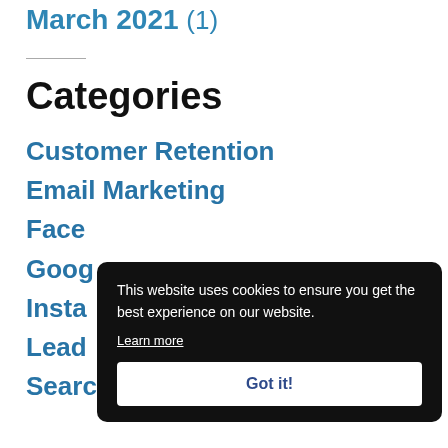March 2021 (1)
Categories
Customer Retention
Email Marketing
Face[book]
Goog[le]
Insta[gram]
Lead[s]
Search Engine Optimization
This website uses cookies to ensure you get the best experience on our website. Learn more
Got it!